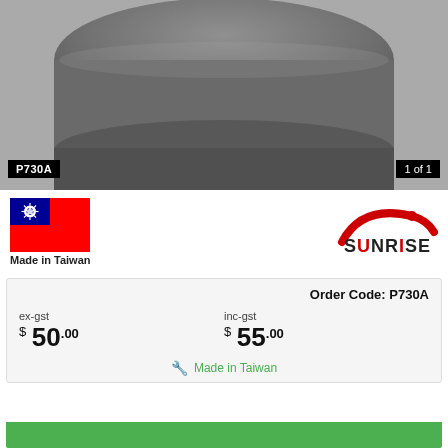[Figure (photo): Close-up product photo of a dark grey rubber or metal cap/plug component against a light background]
P730A
1 of 1
[Figure (illustration): Taiwan national flag — blue canton with white sun, red field]
Made in Taiwan
[Figure (logo): Sunrise brand logo — red arc/sunrise graphic with text SUNRISE]
Order Code: P730A
ex-gst
$ 50.00
inc-gst
$ 55.00
Made in Taiwan